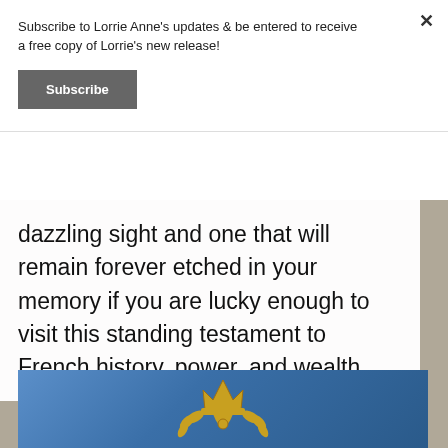Subscribe to Lorrie Anne's updates & be entered to receive a free copy of Lorrie's new release!
Subscribe
dazzling sight and one that will remain forever etched in your memory if you are lucky enough to visit this standing testament to French history, power, and wealth.
[Figure (photo): Blue background with a golden royal/crown emblem, partially visible at bottom of page]